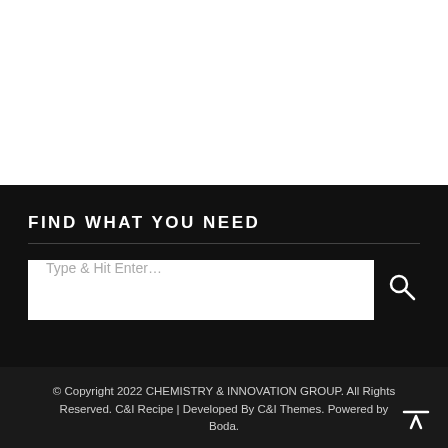FIND WHAT YOU NEED
Type & Hit Enter…
© Copyright 2022 CHEMISTRY & INNOVATION GROUP. All Rights Reserved. C&I Recipe | Developed By C&I Themes. Powered by Boda.